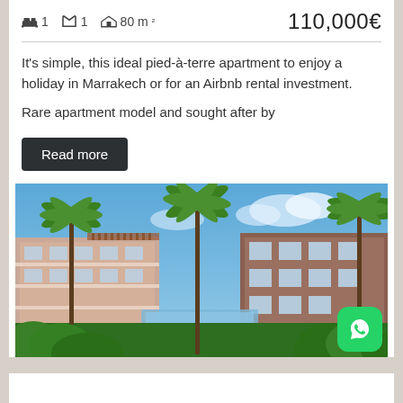🛏 1   🔑 1   🏠 80 m²   110,000€
It's simple, this ideal pied-à-terre apartment to enjoy a holiday in Marrakech or for an Airbnb rental investment.
Rare apartment model and sought after by
Read more
[Figure (photo): Exterior view of a modern apartment complex in Marrakech with palm trees, lush tropical greenery, and a swimming pool visible in the courtyard. Buildings are light beige/terracotta color with white balconies, blue sky in background.]